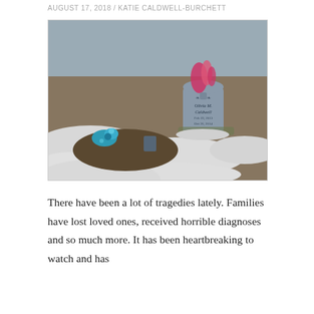AUGUST 17, 2018 / KATIE CALDWELL-BURCHETT
[Figure (photo): A gravestone in a snowy cemetery. The headstone reads 'Olivia M. Caldwell' with dates. The grave mound has a blue bow/flower decoration. Pink flowers are placed near the headstone. Snow covers the surrounding ground.]
There have been a lot of tragedies lately. Families have lost loved ones, received horrible diagnoses and so much more. It has been heartbreaking to watch and has